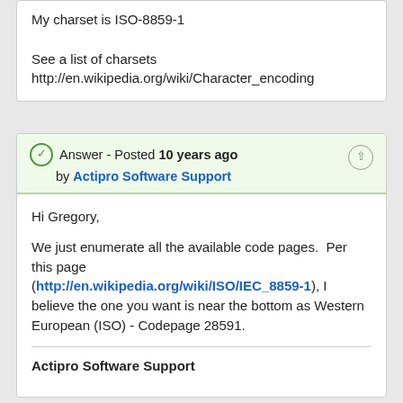My charset is ISO-8859-1

See a list of charsets
http://en.wikipedia.org/wiki/Character_encoding
Answer - Posted 10 years ago by Actipro Software Support
Hi Gregory,

We just enumerate all the available code pages.  Per this page (http://en.wikipedia.org/wiki/ISO/IEC_8859-1), I believe the one you want is near the bottom as Western European (ISO) - Codepage 28591.

Actipro Software Support